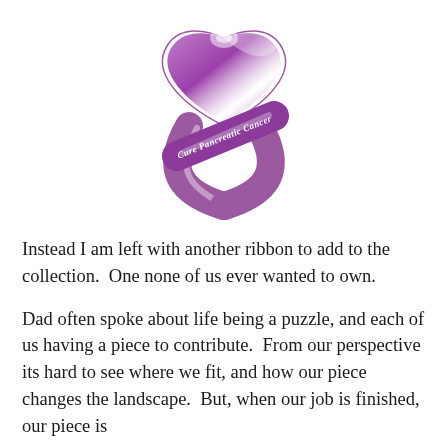[Figure (illustration): Purple awareness ribbon for 'Cure Pancreatic Cancer' — a folded ribbon shape in purple/violet with a white highlight stripe and the text 'Cure Pancreatic Cancer' written diagonally across the lower left band.]
Instead I am left with another ribbon to add to the collection.  One none of us ever wanted to own.
Dad often spoke about life being a puzzle, and each of us having a piece to contribute.  From our perspective its hard to see where we fit, and how our piece changes the landscape.  But, when our job is finished, our piece is